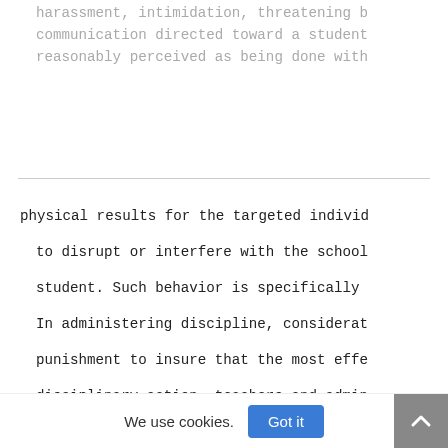harassment, intimidation, threatening b communication directed toward a student reasonably perceived as being done with
physical results for the targeted individ to disrupt or interfere with the school student. Such behavior is specifically
In administering discipline, considerat punishment to insure that the most effe disciplinary action, teachers and admin dealing with individual personalities.